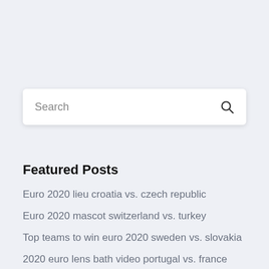[Figure (screenshot): Search bar with placeholder text 'Search' and a magnifying glass icon on the right, white background with subtle shadow, on a light blue-gray page background.]
Featured Posts
Euro 2020 lieu croatia vs. czech republic
Euro 2020 mascot switzerland vs. turkey
Top teams to win euro 2020 sweden vs. slovakia
2020 euro lens bath video portugal vs. france
Euro 2020 puan durumları switzerland vs. turkey